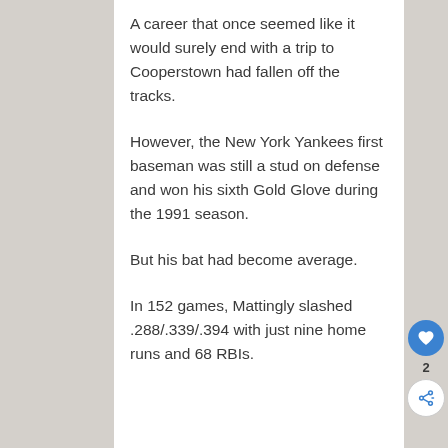A career that once seemed like it would surely end with a trip to Cooperstown had fallen off the tracks.
However, the New York Yankees first baseman was still a stud on defense and won his sixth Gold Glove during the 1991 season.
But his bat had become average.
In 152 games, Mattingly slashed .288/.339/.394 with just nine home runs and 68 RBIs.